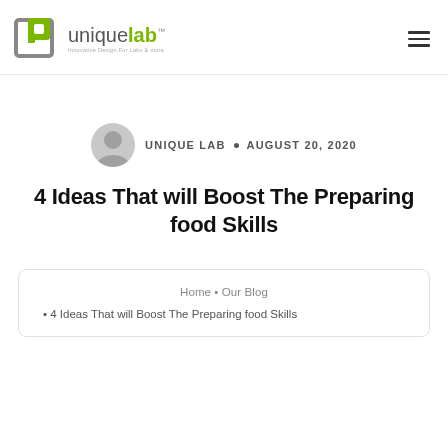uniquelab™ — Innovative Design For Labs & more
UNIQUE LAB • AUGUST 20, 2020
4 Ideas That will Boost The Preparing food Skills
Home • Our Blog • 4 Ideas That will Boost The Preparing food Skills